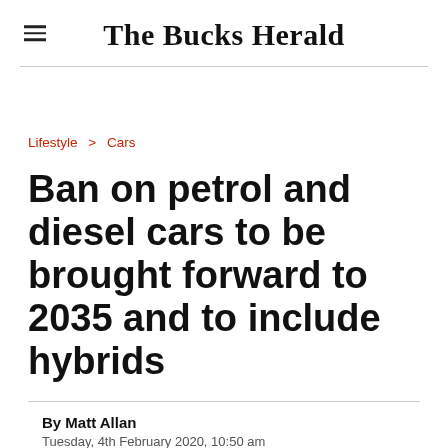The Bucks Herald
Lifestyle > Cars
Ban on petrol and diesel cars to be brought forward to 2035 and to include hybrids
By Matt Allan
Tuesday, 4th February 2020, 10:50 am
Updated  Tuesday, 4th February 2020, 10:50 am